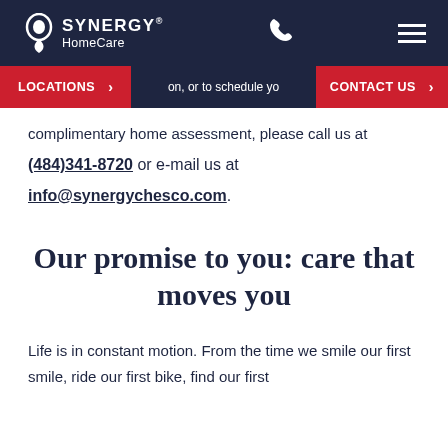SYNERGY HomeCare
on, or to schedule your complimentary home assessment, please call us at (484)341-8720 or e-mail us at info@synergychesco.com.
Our promise to you: care that moves you
Life is in constant motion. From the time we smile our first smile, ride our first bike, find our first